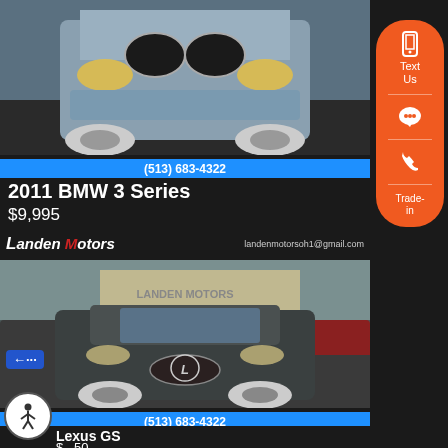[Figure (photo): Front view of a silver 2011 BMW 3 Series at a car dealership]
(513) 683-4322
2011 BMW 3 Series
$9,995
[Figure (photo): Dark gray Lexus GS at Landen Motors dealership lot, dealer logo and email landenmotorsoh1@gmail.com visible]
(513) 683-4322
Lexus GS
$...50